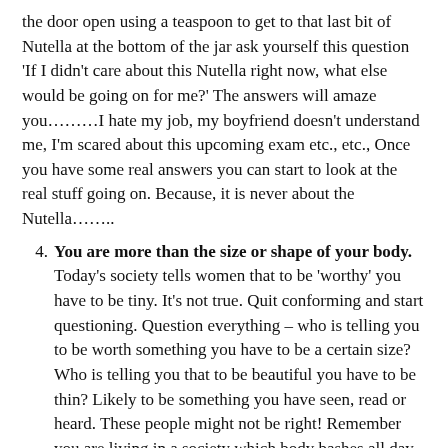the door open using a teaspoon to get to that last bit of Nutella at the bottom of the jar ask yourself this question 'If I didn't care about this Nutella right now, what else would be going on for me?' The answers will amaze you………I hate my job, my boyfriend doesn't understand me, I'm scared about this upcoming exam etc., etc., Once you have some real answers you can start to look at the real stuff going on. Because, it is never about the Nutella…….
4. You are more than the size or shape of your body. Today's society tells women that to be 'worthy' you have to be tiny. It's not true. Quit conforming and start questioning. Question everything – who is telling you to be worth something you have to be a certain size? Who is telling you that to be beautiful you have to be thin? Likely to be something you have seen, read or heard. These people might not be right! Remember you are living in a society which body bashes all day long. We live in a culture where people feel its ok to comment on your size and shape. It isn't. Everyone is different and everyone has something about